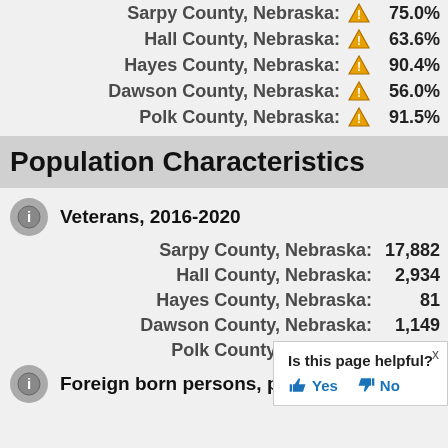Sarpy County, Nebraska: 75.0%
Hall County, Nebraska: 63.6%
Hayes County, Nebraska: 90.4%
Dawson County, Nebraska: 56.0%
Polk County, Nebraska: 91.5%
Population Characteristics
Veterans, 2016-2020
Sarpy County, Nebraska: 17,882
Hall County, Nebraska: 2,934
Hayes County, Nebraska: 81
Dawson County, Nebraska: 1,149
Polk County, Nebraska: 369
Foreign born persons, percent